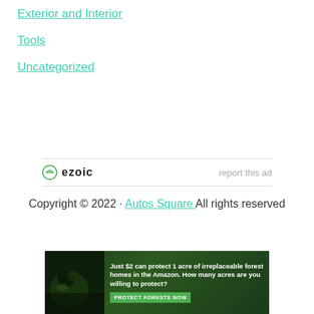Exterior and Interior
Tools
Uncategorized
[Figure (logo): Ezoic logo with circular icon and bold text 'ezoic', with 'report this ad' link on the right]
Copyright © 2022 · Autos Square All rights reserved
[Figure (photo): Advertisement banner: dark forest background with animal, text 'Just $2 can protect 1 acre of irreplaceable forest homes in the Amazon. How many acres are you willing to protect?' with green 'PROTECT FORESTS NOW' button]